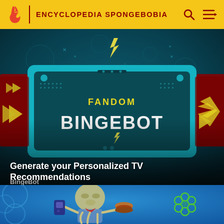ENCYCLOPEDIA SPONGEBOBIA
[Figure (screenshot): Fandom BingeBot promotional image with teal futuristic screen/device showing 'FANDOM BINGEBOT' text in yellow, with yellow arrow chevrons on left and right sides, on dark teal underwater-themed background]
Generate your Personalized TV Recommendations
BingeBot
[Figure (screenshot): Squidward character from SpongeBob SquarePants, appearing to eat a Krabby Patty, on a blue underwater background with green flower-like coral decorations]